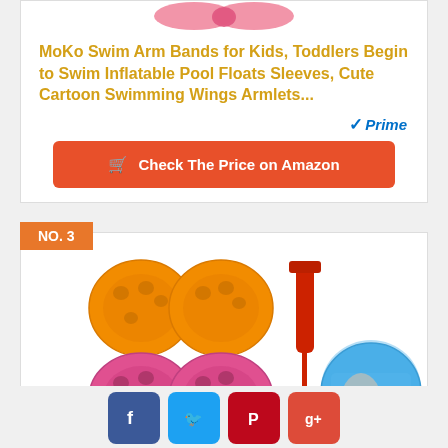MoKo Swim Arm Bands for Kids, Toddlers Begin to Swim Inflatable Pool Floats Sleeves, Cute Cartoon Swimming Wings Armlets...
[Figure (photo): Amazon Prime badge with checkmark and italic Prime text in blue]
Check The Price on Amazon
NO. 3
[Figure (photo): Product image showing orange and pink inflatable swim arm bands with a red hand pump and a blue armband being worn]
[Figure (infographic): Social media share buttons row: Facebook (blue), Twitter (light blue), Pinterest (red), Google+ (orange-red)]